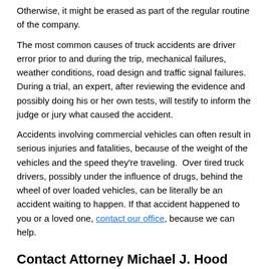Otherwise, it might be erased as part of the regular routine of the company.
The most common causes of truck accidents are driver error prior to and during the trip, mechanical failures, weather conditions, road design and traffic signal failures. During a trial, an expert, after reviewing the evidence and possibly doing his or her own tests, will testify to inform the judge or jury what caused the accident.
Accidents involving commercial vehicles can often result in serious injuries and fatalities, because of the weight of the vehicles and the speed they're traveling.  Over tired truck drivers, possibly under the influence of drugs, behind the wheel of over loaded vehicles, can be literally be an accident waiting to happen. If that accident happened to you or a loved one, contact our office, because we can help.
Contact Attorney Michael J. Hood
We offer a free initial consultation to every truck accident client. To set up a private meeting with an experienced Delaware personal injury